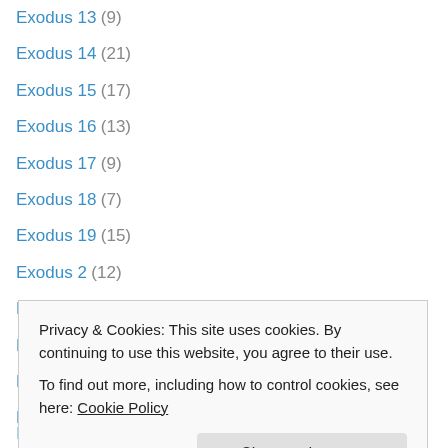Exodus 14 (21)
Exodus 15 (17)
Exodus 16 (13)
Exodus 17 (9)
Exodus 18 (7)
Exodus 19 (15)
Exodus 2 (12)
Exodus 20 (29)
Exodus 21 (6)
Exodus 22 (13)
Exodus 23 (7)
Exodus 24 (12)
Exodus 25 (10)
Exodus 33 (17)
Privacy & Cookies: This site uses cookies. By continuing to use this website, you agree to their use.
To find out more, including how to control cookies, see here: Cookie Policy